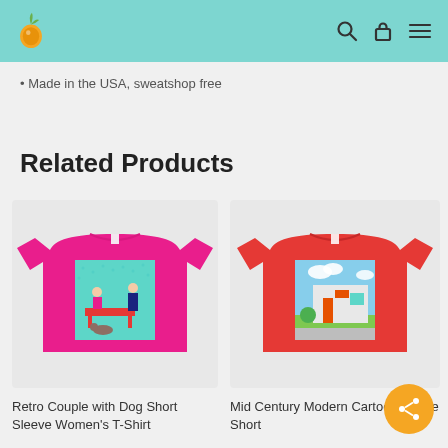Navigation header with logo and icons
Made in the USA, sweatshop free
Related Products
[Figure (photo): Pink t-shirt with retro couple with dog artwork printed on front]
[Figure (photo): Red t-shirt with mid century modern cartoon house artwork printed on front]
Retro Couple with Dog Short Sleeve Women's T-Shirt
Mid Century Modern Cartoon House Short...